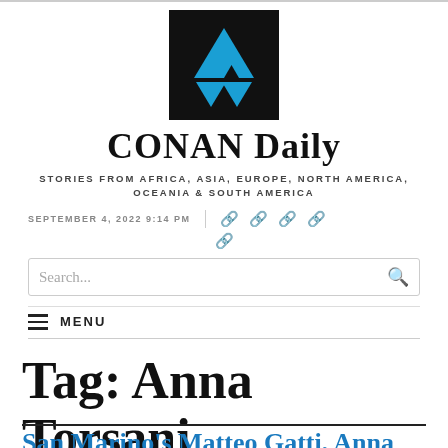[Figure (logo): CONAN Daily logo: black square with blue triangles forming Triforce-like pattern]
CONAN Daily
STORIES FROM AFRICA, ASIA, EUROPE, NORTH AMERICA, OCEANIA & SOUTH AMERICA
SEPTEMBER 4, 2022 9:14 PM
Tag: Anna Torsani
San Marino's Matteo Gatti, Anna